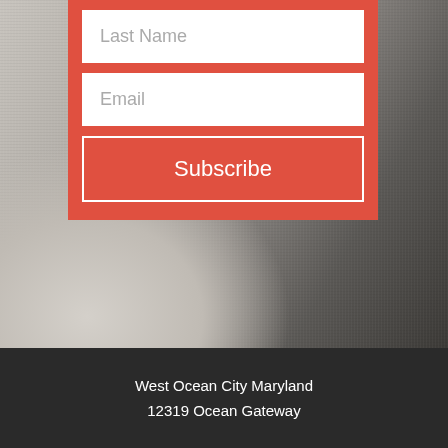[Figure (photo): Background photo of fabric/textile material in light grey and dark charcoal tones]
Last Name
Email
Subscribe
West Ocean City Maryland
12319 Ocean Gateway